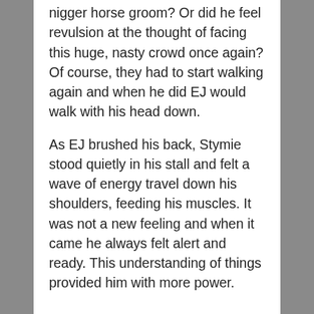nigger horse groom? Or did he feel revulsion at the thought of facing this huge, nasty crowd once again? Of course, they had to start walking again and when he did EJ would walk with his head down.
As EJ brushed his back, Stymie stood quietly in his stall and felt a wave of energy travel down his shoulders, feeding his muscles. It was not a new feeling and when it came he always felt alert and ready. This understanding of things provided him with more power.